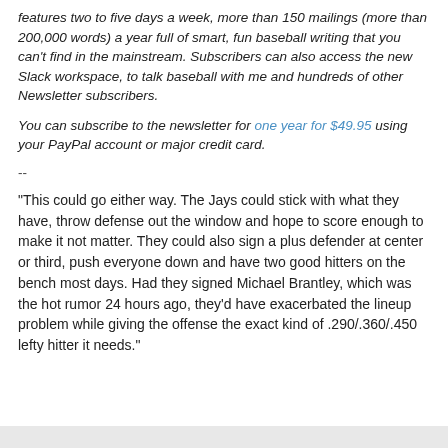features two to five days a week, more than 150 mailings (more than 200,000 words) a year full of smart, fun baseball writing that you can't find in the mainstream. Subscribers can also access the new Slack workspace, to talk baseball with me and hundreds of other Newsletter subscribers.
You can subscribe to the newsletter for one year for $49.95 using your PayPal account or major credit card.
--
"This could go either way. The Jays could stick with what they have, throw defense out the window and hope to score enough to make it not matter. They could also sign a plus defender at center or third, push everyone down and have two good hitters on the bench most days. Had they signed Michael Brantley, which was the hot rumor 24 hours ago, they'd have exacerbated the lineup problem while giving the offense the exact kind of .290/.360/.450 lefty hitter it needs."